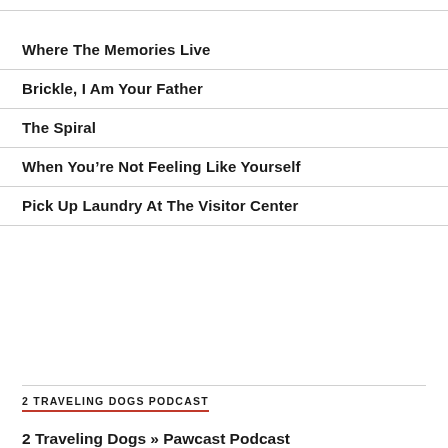Where The Memories Live
Brickle, I Am Your Father
The Spiral
When You're Not Feeling Like Yourself
Pick Up Laundry At The Visitor Center
2 TRAVELING DOGS PODCAST
2 Traveling Dogs » Pawcast Podcast